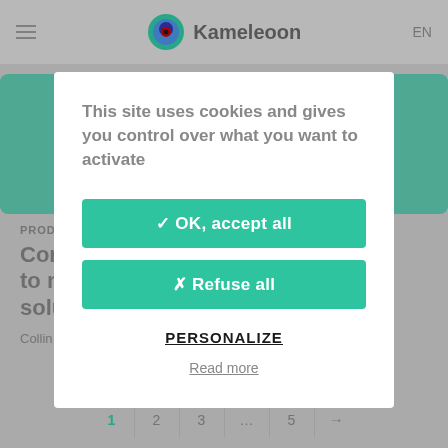[Figure (screenshot): Kameleoon website navigation bar with hamburger menu, logo with concentric circle icon, brand name 'Kameleoon', and 'EN' language selector]
[Figure (screenshot): Background web page content showing green card elements and partially visible headline text about a product]
This site uses cookies and gives you control over what you want to activate
✓ OK, accept all
✗ Refuse all
PERSONALIZE
Read more
PROD
Con to n solu
Collin
1  2  3  …  5  →